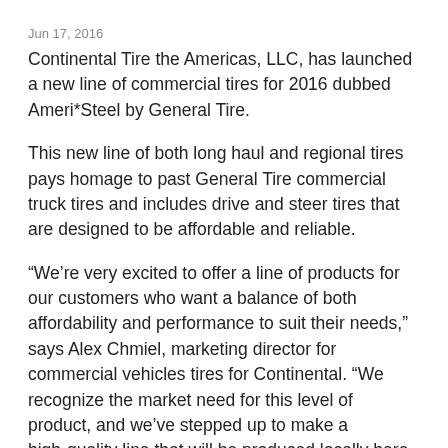Jun 17, 2016
Continental Tire the Americas, LLC, has launched a new line of commercial tires for 2016 dubbed Ameri*Steel by General Tire.
This new line of both long haul and regional tires pays homage to past General Tire commercial truck tires and includes drive and steer tires that are designed to be affordable and reliable.
“We’re very excited to offer a line of products for our customers who want a balance of both affordability and performance to suit their needs,” says Alex Chmiel, marketing director for commercial vehicles tires for Continental. “We recognize the market need for this level of product, and we’ve stepped up to make a high-quality line that will be produced locally here in the USA.”